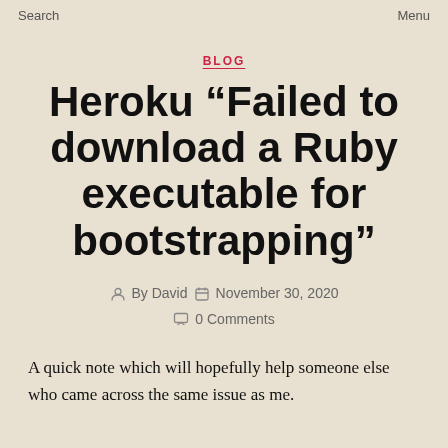Search    Menu
BLOG
Heroku “Failed to download a Ruby executable for bootstrapping”
By David   November 30, 2020   0 Comments
A quick note which will hopefully help someone else who came across the same issue as me.